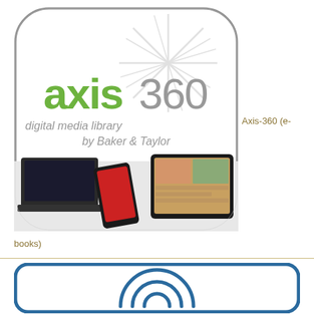[Figure (logo): Axis 360 digital media library by Baker & Taylor logo, showing app icon with rounded rectangle, green 'axis' text, grey '360' with starburst graphic, subtitle 'digital media library by Baker & Taylor', and devices (smartphone, tablet, laptop) on white surface]
Axis-360 (e-
books)
[Figure (logo): Blue rounded rectangle border logo with concentric arc/wifi-style symbol in blue on white background]